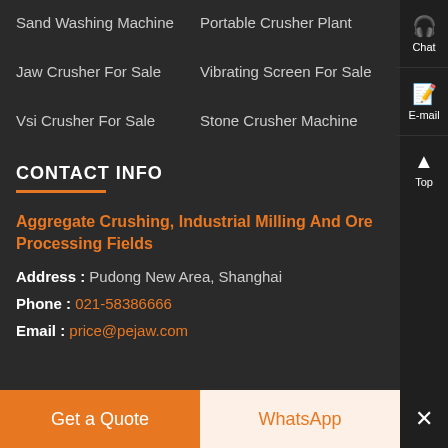Sand Washing Machine
Portable Crusher Plant
Jaw Crusher For Sale
Vibrating Screen For Sale
Vsi Crusher For Sale
Stone Crusher Machine
CONTACT INFO
Aggregate Crushing, Industrial Milling And Ore Processing Fields
Address : Pudong New Area, Shanghai
Phone : 021-58386666
Email : price@pejaw.com